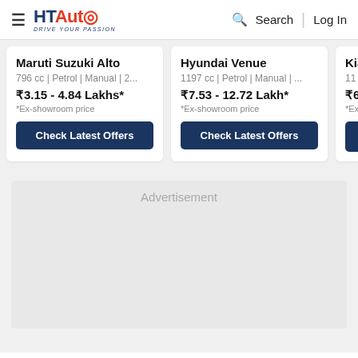HT Auto - Drive Your Passion | Search | Log In
Maruti Suzuki Alto
796 cc | Petrol | Manual | 2...
₹3.15 - 4.84 Lakhs*
*Ex-showroom price
Check Latest Offers
Hyundai Venue
1197 cc | Petrol | Manual | ...
₹7.53 - 12.72 Lakh*
*Ex-showroom price
Check Latest Offers
Kia
11
₹6...
*Ex
Advertisement